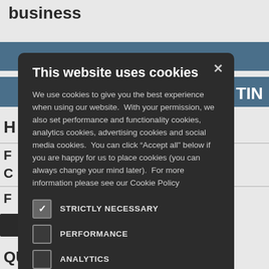business
TIN
H
F
C
F
QUICKLINKS
This website uses cookies
We use cookies to give you the best experience when using our website.  With your permission, we also set performance and functionality cookies, analytics cookies, advertising cookies and social media cookies.  You can click “Accept all” below if you are happy for us to place cookies (you can always change your mind later).  For more information please see our Cookie Policy
STRICTLY NECESSARY
PERFORMANCE
ANALYTICS
FUNCTIONALITY
SOCIAL MEDIA